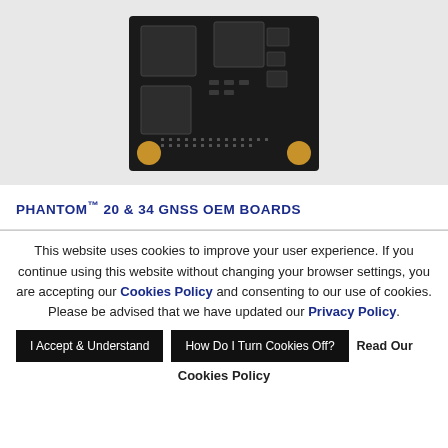[Figure (photo): Photo of a GNSS OEM circuit board with multiple chips and antenna pads on a dark PCB]
PHANTOM™ 20 & 34 GNSS OEM BOARDS
This website uses cookies to improve your user experience. If you continue using this website without changing your browser settings, you are accepting our Cookies Policy and consenting to our use of cookies. Please be advised that we have updated our Privacy Policy.
I Accept & Understand | How Do I Turn Cookies Off? | Read Our
Cookies Policy